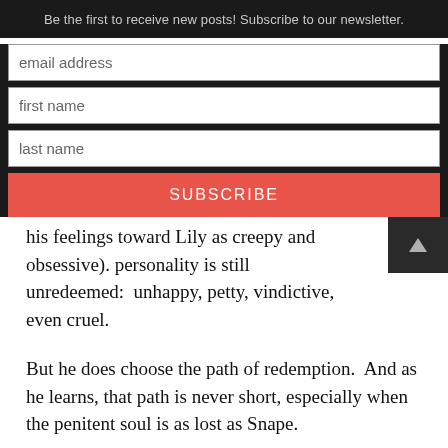Be the first to receive new posts! Subscribe to our newsletter.
email address
first name
last name
SUBSCRIBE
his feelings toward Lily as creepy and obsessive). personality is still unredeemed:  unhappy, petty, vindictive, even cruel.
But he does choose the path of redemption.  And as he learns, that path is never short, especially when the penitent soul is as lost as Snape.